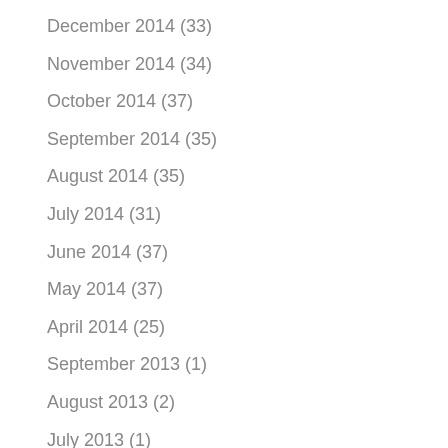December 2014 (33)
November 2014 (34)
October 2014 (37)
September 2014 (35)
August 2014 (35)
July 2014 (31)
June 2014 (37)
May 2014 (37)
April 2014 (25)
September 2013 (1)
August 2013 (2)
July 2013 (1)
February 2013 (1)
January 2013 (1)
December 2012 (1)